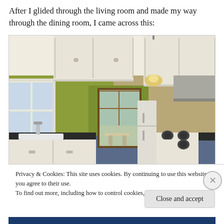After I glided through the living room and made my way through the dining room, I came across this:
[Figure (photo): Interior photo of a residential kitchen with white cabinets, green walls, dark countertops, a sink on the left, a stove on the right, and a door leading to a sunroom/patio at the far end.]
Privacy & Cookies: This site uses cookies. By continuing to use this website, you agree to their use.
To find out more, including how to control cookies, see here: Cookie Policy